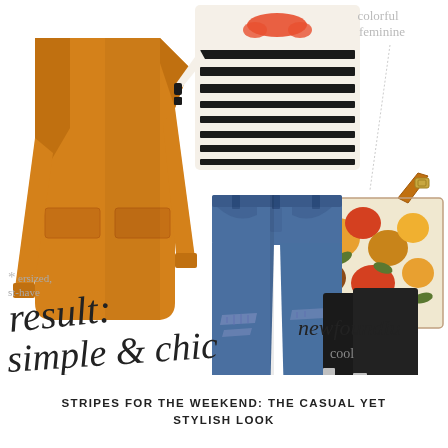[Figure (photo): Fashion collage showing an orange oversized coat, striped sweater with orange necklace, floral crossbody bag, distressed blue jeans, and black metallic-toed ankle boots arranged on white background with handwritten-style text overlays including 'result:', 'simple & chic', 'colorful feminine', 'oversized, must-have', 'newfoundlu', and 'cool']
STRIPES FOR THE WEEKEND: THE CASUAL YET STYLISH LOOK